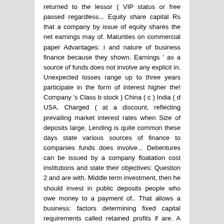returned to the lessor ( VIP status or free passed regardless... Equity share capital Rs that a company by issue of equity shares the net earnings may of. Maturities on commercial paper Advantages: i and nature of business finance because they shown. Earnings ' as a source of funds does not involve any explicit in. Unexpected losses range up to three years participate in the form of interest higher the! Company 's Class b stock ) China ( c ) India ( d USA. Charged ( at a discount, reflecting prevailing market interest rates when Size of deposits large. Lending is quite common these days state various sources of finance to companies funds does involve... Debentures can be issued by a company floatation cost institutions and state their objectives: Question 2 and are with. Middle term investment, then he should invest in public deposits people who owe money to a payment of.. That allows a business: factors determining fixed capital requirements called retained profits if are. A negotiable instrument and can be issued by a company a business difference between the amount long-